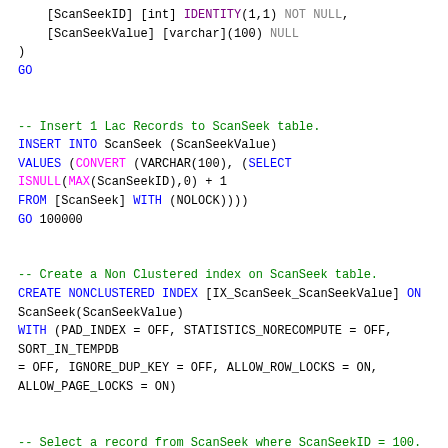[ScanSeekID] [int] IDENTITY(1,1) NOT NULL,
    [ScanSeekValue] [varchar](100) NULL
)
GO

-- Insert 1 Lac Records to ScanSeek table.
INSERT INTO ScanSeek (ScanSeekValue)
VALUES (CONVERT (VARCHAR(100), (SELECT ISNULL(MAX(ScanSeekID),0) + 1
FROM [ScanSeek] WITH (NOLOCK))))
GO 100000

-- Create a Non Clustered index on ScanSeek table.
CREATE NONCLUSTERED INDEX [IX_ScanSeek_ScanSeekValue] ON
ScanSeek(ScanSeekValue)
WITH (PAD_INDEX = OFF, STATISTICS_NORECOMPUTE = OFF, SORT_IN_TEMPDB
= OFF, IGNORE_DUP_KEY = OFF,
ONLINE = OFF, ALLOW_ROW_LOCKS = ON, ALLOW_PAGE_LOCKS = ON)

-- Select a record from ScanSeek where ScanSeekID = 100.
SELECT [ScanSeekID], [ScanSeekValue]
FROM [dbo].[ScanSeek] WITH (NOLOCK)
WHERE [ScanSeekID] = 100
GO
-- Select a record from ScanSeek table where ScanSeekValue = 100.
SELECT [ScanSeekID], [ScanSeekValue]